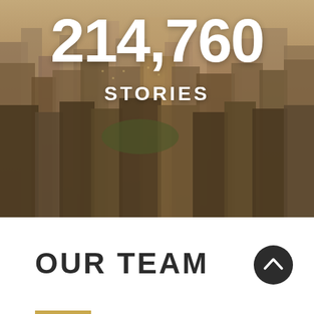[Figure (photo): Aerial sepia-toned cityscape photo of a dense urban skyline with skyscrapers, overlaid with the large white text '214,760' and 'STORIES']
214,760
STORIES
OUR TEAM